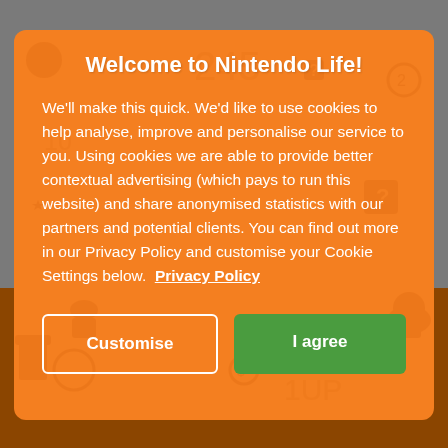Welcome to Nintendo Life!
We'll make this quick. We'd like to use cookies to help analyse, improve and personalise our service to you. Using cookies we are able to provide better contextual advertising (which pays to run this website) and share anonymised statistics with our partners and potential clients. You can find out more in our Privacy Policy and customise your Cookie Settings below. Privacy Policy
Customise
I agree